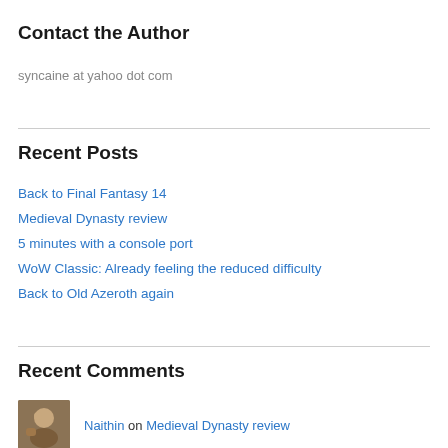Contact the Author
syncaine at yahoo dot com
Recent Posts
Back to Final Fantasy 14
Medieval Dynasty review
5 minutes with a console port
WoW Classic: Already feeling the reduced difficulty
Back to Old Azeroth again
Recent Comments
Naithin on Medieval Dynasty review
SynCaine on Medieval Dynasty review